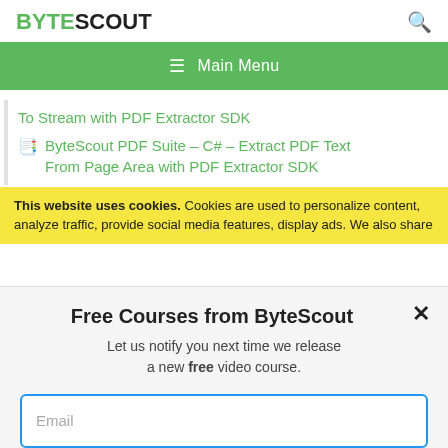BYTESCOUT
☰  Main Menu
To Stream with PDF Extractor SDK
ByteScout PDF Suite – C# – Extract PDF Text From Page Area with PDF Extractor SDK
This website uses cookies. Cookies are used to personalize content, analyze traffic, provide social media features, display ads. We also share
Free Courses from ByteScout
Let us notify you next time we release a new free video course.
Email
SUBSCRIBE